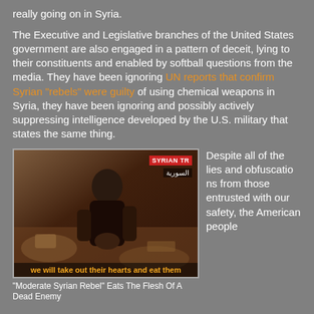really going on in Syria.
The Executive and Legislative branches of the United States government are also engaged in a pattern of deceit, lying to their constituents and enabled by softball questions from the media. They have been ignoring UN reports that confirm Syrian "rebels" were guilty of using chemical weapons in Syria, they have been ignoring and possibly actively suppressing intelligence developed by the U.S. military that states the same thing.
[Figure (photo): Video still showing a man in a rubble-strewn area with a SYRIAN TR watermark badge, subtitle reads 'we will take out their hearts and eat them']
"Moderate Syrian Rebel" Eats The Flesh Of A Dead Enemy
Despite all of the lies and obfuscations from those entrusted with our safety, the American people